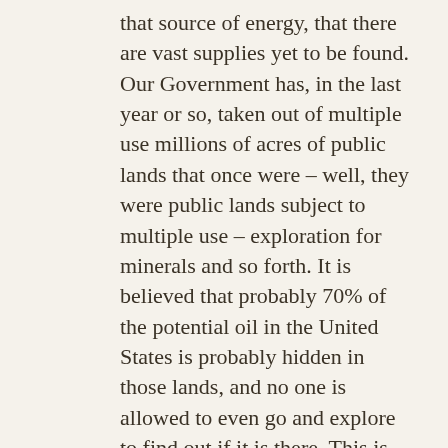that source of energy, that there are vast supplies yet to be found. Our Government has, in the last year or so, taken out of multiple use millions of acres of public lands that once were – well, they were public lands subject to multiple use – exploration for minerals and so forth. It is believed that probably 70% of the potential oil in the United States is probably hidden in those lands, and no one is allowed to even go and explore to find out if it is there. This is particularly true of the recent efforts to shut down part of Alaska. Nuclear power: There were 36 power plants planned in this country. And let me add the word safety; it must be done with the utmost of safety. But 32 of those have given up and canceled their plans to build, and again, because Government regulations and permits, and so forth, take – make it take – more than twice as long to build a nuclear